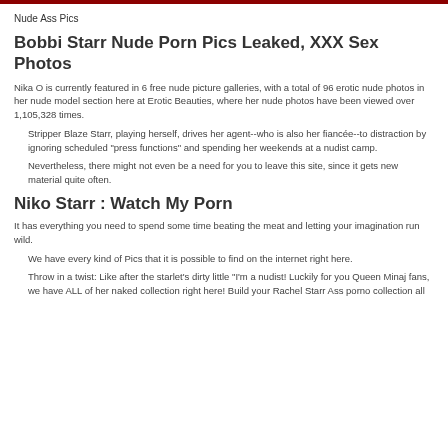Nude Ass Pics
Bobbi Starr Nude Porn Pics Leaked, XXX Sex Photos
Nika O is currently featured in 6 free nude picture galleries, with a total of 96 erotic nude photos in her nude model section here at Erotic Beauties, where her nude photos have been viewed over 1,105,328 times.
Stripper Blaze Starr, playing herself, drives her agent--who is also her fiancée--to distraction by ignoring scheduled "press functions" and spending her weekends at a nudist camp.
Nevertheless, there might not even be a need for you to leave this site, since it gets new material quite often.
Niko Starr : Watch My Porn
It has everything you need to spend some time beating the meat and letting your imagination run wild.
We have every kind of Pics that it is possible to find on the internet right here.
Throw in a twist: Like after the starlet's dirty little "I'm a nudist! Luckily for you Queen Minaj fans, we have ALL of her naked collection right here! Build your Rachel Starr Ass porno collection all